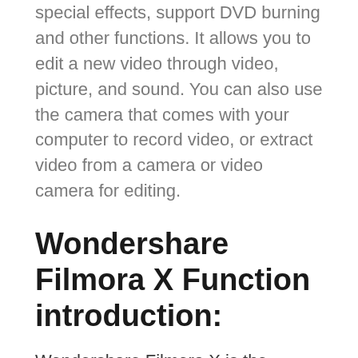special effects, support DVD burning and other functions. It allows you to edit a new video through video, picture, and sound. You can also use the camera that comes with your computer to record video, or extract video from a camera or video camera for editing.
Wondershare Filmora X Function introduction:
Wondershare Filmora X is the former Wondershare Video Editor.
Wondershare Filmora X supports almost all video format editing, such as MP4, FLV, MOV, AVI, MKV, FLV, WMV, TS, MTS, etc., built hundreds of gorgeous video special effects, support DVD